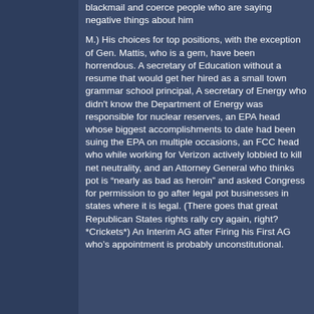blackmail and coerce people who are saying negative things about him
M.) His choices for top positions, with the exception of Gen. Mattis, who is a gem, have been horrendous. A secretary of Education without a resume that would get her hired as a small town grammar school principal, A secretary of Energy who didn't know the Department of Energy was responsible for nuclear reserves, an EPA head whose biggest accomplishments to date had been suing the EPA on multiple occasions, an FCC head who while working for Verizon actively lobbied to kill net neutrality, and an Attorney General who thinks pot is “nearly as bad as heroin” and asked Congress for permission to go after legal pot businesses in states where it is legal. (There goes that great Republican States rights rally cry again, right? *Crickets*) An Interim AG after Firing his First AG who’s appointment is probably unconstitutional.